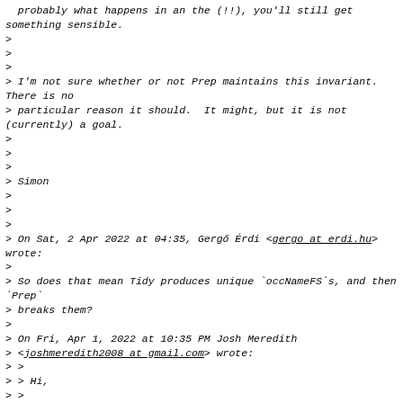probably what happens in an the (!!), you'll still get something sensible.
>
>
>
> I'm not sure whether or not Prep maintains this invariant.  There is no
> particular reason it should.  It might, but it is not (currently) a goal.
>
>
>
> Simon
>
>
>
> On Sat, 2 Apr 2022 at 04:35, Gergő Érdi <gergo at erdi.hu> wrote:
>
> So does that mean Tidy produces unique `occNameFS`s, and then `Prep`
> breaks them?
>
> On Fri, Apr 1, 2022 at 10:35 PM Josh Meredith
> <joshmeredith2008 at gmail.com> wrote:
> >
> > Hi,
> >
> > I encountered this when we used that for Plutus. I'll have to dig up the
> details, but IIRC `toIfaceExpr` expects GHC to have